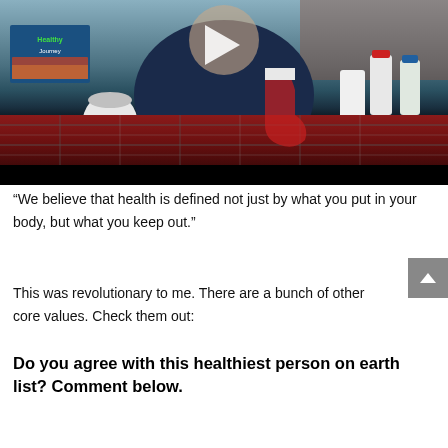[Figure (screenshot): Video thumbnail showing a person seated at a table with a red plaid tablecloth, health supplement bottles, and a 'Healthy Journey' box visible. A play button triangle is overlaid at the center top.]
“We believe that health is defined not just by what you put in your body, but what you keep out.”
This was revolutionary to me. There are a bunch of other core values. Check them out:
Do you agree with this healthiest person on earth list? Comment below.